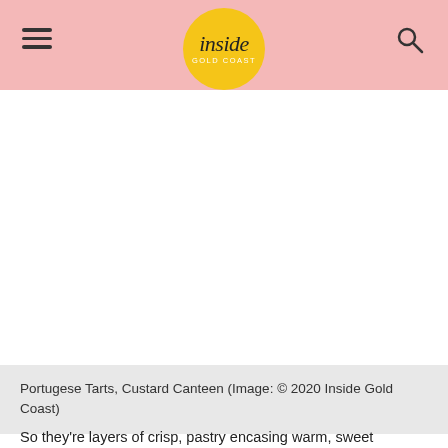inside GOLD COAST
[Figure (photo): Blank white image area where a photo of Portugese Tarts from Custard Canteen would appear]
Portugese Tarts, Custard Canteen (Image: © 2020 Inside Gold Coast)
So they're layers of crisp, pastry encasing warm, sweet